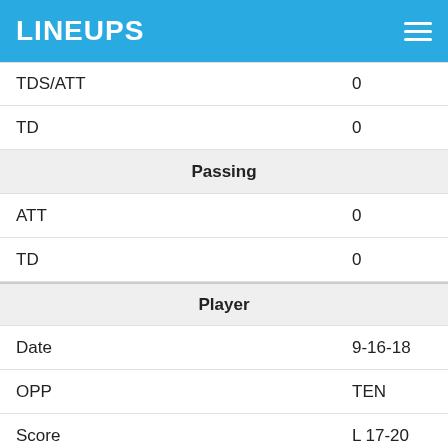LINEUPS
| TDS/ATT | 0 |
| TD | 0 |
| Passing |  |
| ATT | 0 |
| TD | 0 |
| Player |  |
| Date | 9-16-18 |
| OPP | TEN |
| Score | L 17-20 |
| SNAPS | 53 |
| FUM | 0 |
| TOT TD | 0 |
| Fantasy Points |  |